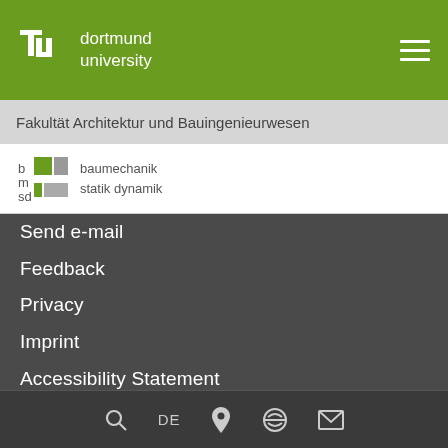tu dortmund university
Fakultät Architektur und Bauingenieurwesen
[Figure (logo): baumechanik statik dynamik logo with green and grey squares grid icon]
Send e-mail
Feedback
Privacy
Imprint
Accessibility Statement
Sitemap
Search, DE, Location, Accessibility, Contact icons